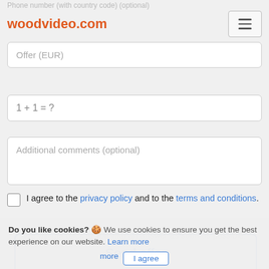Phone number (with country code) (optional)
woodvideo.com
Offer (EUR)
1 + 1 = ?
Additional comments (optional)
I agree to the privacy policy and to the terms and conditions.
Send offer
Do you like cookies? 🍪 We use cookies to ensure you get the best experience on our website. Learn more
We will get back to you with an answer as soon as possible.